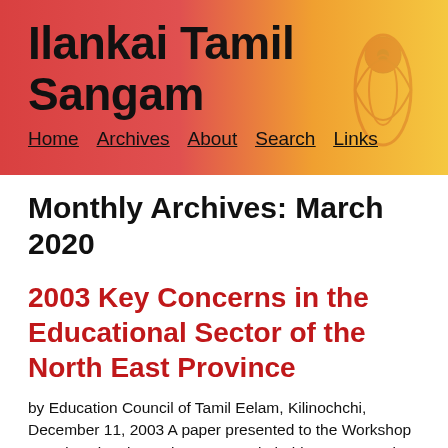Ilankai Tamil Sangam
Home   Archives   About   Search   Links
Monthly Archives: March 2020
2003 Key Concerns in the Educational Sector of the North East Province
by Education Council of Tamil Eelam, Kilinochchi, December 11, 2003 A paper presented to the Workshop on Educational Development, Stakeholder Concerns in Trincomalee on behalf of V. Ilankumaran, Esq., Director General, Education Council of Tamil Eelam Key Concerns in Educational Sector of NEP 2003 Education Workshop Materials 2003 TamilNet: LTTE Education Council spotlights NE shortcomings